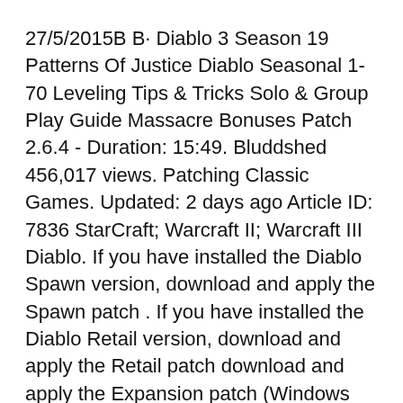27/5/2015B B· Diablo 3 Season 19 Patterns Of Justice Diablo Seasonal 1-70 Leveling Tips & Tricks Solo & Group Play Guide Massacre Bonuses Patch 2.6.4 - Duration: 15:49. Bluddshed 456,017 views. Patching Classic Games. Updated: 2 days ago Article ID: 7836 StarCraft; Warcraft II; Warcraft III Diablo. If you have installed the Diablo Spawn version, download and apply the Spawn patch . If you have installed the Diablo Retail version, download and apply the Retail patch download and apply the Expansion patch (Windows Mac
2.2.3 Weapon speed made it into the Hellfire patch. There still exists quite a